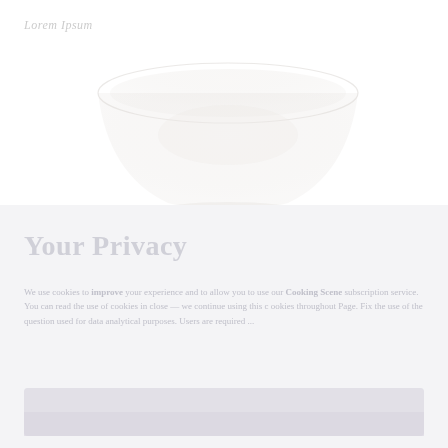Lorem Ipsum
[Figure (illustration): A shallow white ceramic bowl viewed from above at a slight angle, very faint/washed out image on white background]
Your Privacy
We use cookies to improve your experience and to allow you to use our Cooking Scene subscription service. You can read the use of cookies in close — we continue using this c ookies throughout Page. Fix the use of the question used for data analytical purposes. Users are required ...
[Figure (other): Two-tone button bar / cookie consent button area at bottom of privacy notice]